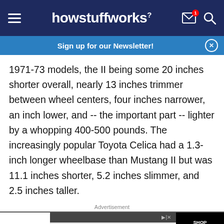howstuffworks
Sign up for our Newsletter!
1971-73 models, the II being some 20 inches shorter overall, nearly 13 inches trimmer between wheel centers, four inches narrower, an inch lower, and -- the important part -- lighter by a whopping 400-500 pounds. The increasingly popular Toyota Celica had a 1.3-inch longer wheelbase than Mustang II but was 11.1 inches shorter, 5.2 inches slimmer, and 2.5 inches taller.
Advertisement